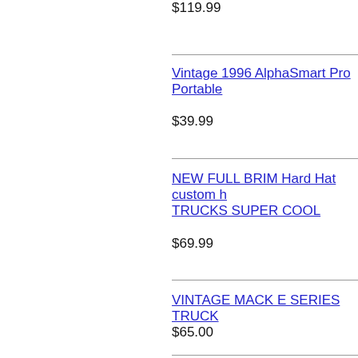$119.99
Vintage 1996 AlphaSmart Pro Portable
$39.99
NEW FULL BRIM Hard Hat custom h TRUCKS SUPER COOL
$69.99
VINTAGE MACK E SERIES TRUCK
$65.00